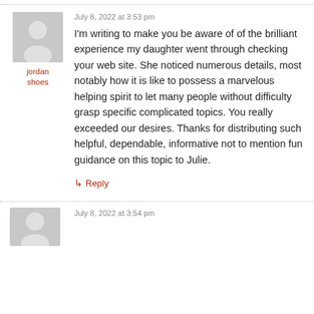July 8, 2022 at 3:53 pm
I'm writing to make you be aware of of the brilliant experience my daughter went through checking your web site. She noticed numerous details, most notably how it is like to possess a marvelous helping spirit to let many people without difficulty grasp specific complicated topics. You really exceeded our desires. Thanks for distributing such helpful, dependable, informative not to mention fun guidance on this topic to Julie.
jordan shoes
↳ Reply
July 8, 2022 at 3:54 pm